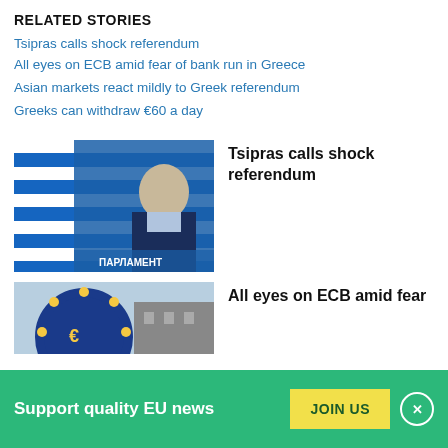RELATED STORIES
Tsipras calls shock referendum
All eyes on ECB amid fear of bank run in Greece
Asian markets react mildly to Greek referendum
Greeks can withdraw €60 a day
[Figure (photo): Man in dark suit standing in front of Greek flag and blue background with text ПАРЛАМЕНТ]
Tsipras calls shock referendum
[Figure (photo): ECB logo (blue circle with yellow stars) partially visible]
All eyes on ECB amid fear
Support quality EU news
JOIN US